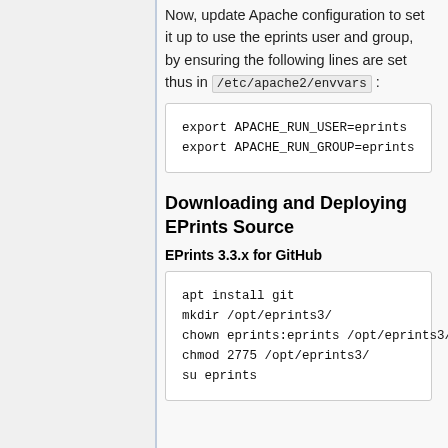Now, update Apache configuration to set it up to use the eprints user and group, by ensuring the following lines are set thus in /etc/apache2/envvars :
export APACHE_RUN_USER=eprints
export APACHE_RUN_GROUP=eprints
Downloading and Deploying EPrints Source
EPrints 3.3.x for GitHub
apt install git
mkdir /opt/eprints3/
chown eprints:eprints /opt/eprints3/
chmod 2775 /opt/eprints3/
su eprints